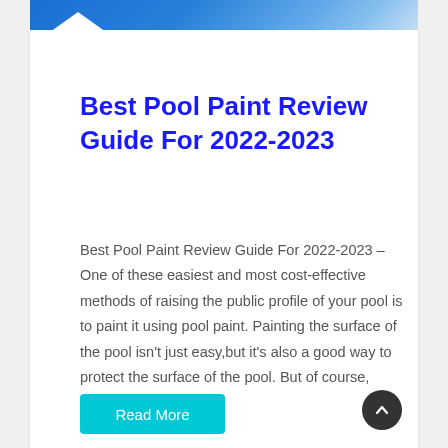[Figure (photo): Blue pool water image banner at top of card]
Best Pool Paint Review Guide For 2022-2023
Best Pool Paint Review Guide For 2022-2023 – One of these easiest and most cost-effective methods of raising the public profile of your pool is to paint it using pool paint. Painting the surface of the pool isn't just easy,but it's also a good way to protect the surface of the pool. But of course,
Read More